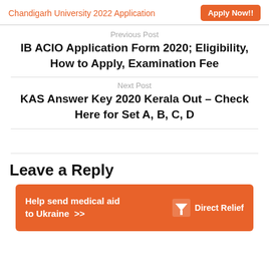Chandigarh University 2022 Application   Apply Now!!
Previous Post
IB ACIO Application Form 2020; Eligibility, How to Apply, Examination Fee
Next Post
KAS Answer Key 2020 Kerala Out – Check Here for Set A, B, C, D
Leave a Reply
[Figure (infographic): Orange Direct Relief advertisement banner: 'Help send medical aid to Ukraine >>' with Direct Relief logo on right]